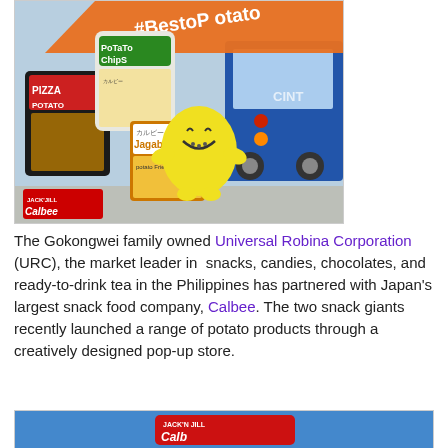[Figure (photo): Promotional photo for Jack 'n Jill Calbee featuring potato chip products (Pizza Potato, Potato Chips, Jagabee Potato Fries), a yellow mascot character, and a blue bus in the background. Orange banner with '#BestoPotato' text. Jack 'n Jill Calbee logo in bottom left.]
The Gokongwei family owned Universal Robina Corporation (URC), the market leader in  snacks, candies, chocolates, and ready-to-drink tea in the Philippines has partnered with Japan's largest snack food company, Calbee. The two snack giants recently launched a range of potato products through a creatively designed pop-up store.
[Figure (photo): Partial photo showing a Jack 'n Jill Calbee sign/storefront with blue background, partially visible at bottom of page.]